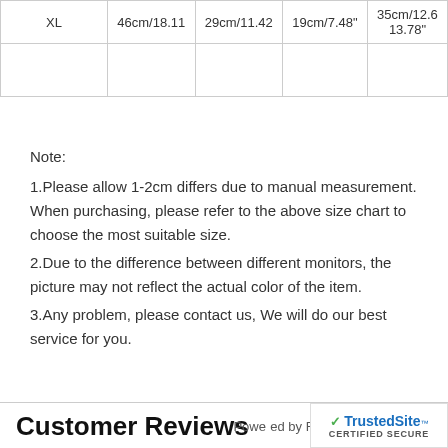| XL | 46cm/18.11 | 29cm/11.42 | 19cm/7.48" | 35cm/12.6
13.78" |
Note:
1.Please allow 1-2cm differs due to manual measurement. When purchasing, please refer to the above size chart to choose the most suitable size.
2.Due to the difference between different monitors, the picture may not reflect the actual color of the item.
3.Any problem, please contact us, We will do our best service for you.
Customer Reviews